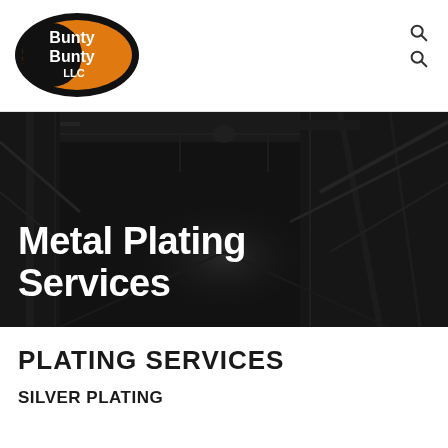[Figure (logo): Bunty Bunty LLC logo — oval black background with orange fill, white bold text reading 'Bunty Bunty LLC']
[Figure (other): Two magnifying glass / search icons stacked vertically in top-right corner of navigation bar]
[Figure (photo): Dark industrial warehouse or factory interior with steel beams, overhead equipment and dramatic perspective lighting — monochrome hero banner image]
Metal Plating Services
PLATING SERVICES
SILVER PLATING